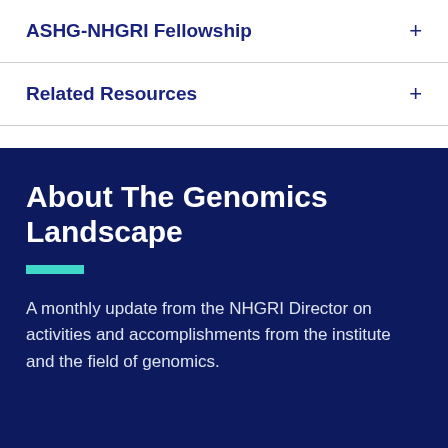ASHG-NHGRI Fellowship
Related Resources
About The Genomics Landscape
A monthly update from the NHGRI Director on activities and accomplishments from the institute and the field of genomics.